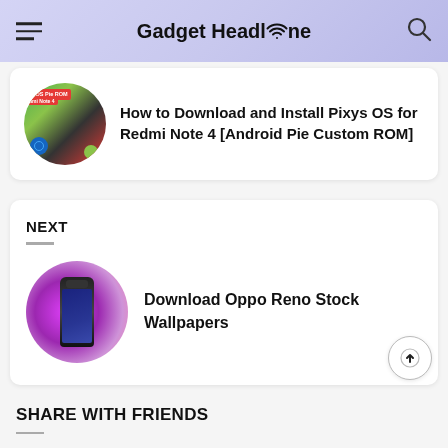Gadget Headline
How to Download and Install Pixys OS for Redmi Note 4 [Android Pie Custom ROM]
NEXT
Download Oppo Reno Stock Wallpapers
SHARE WITH FRIENDS